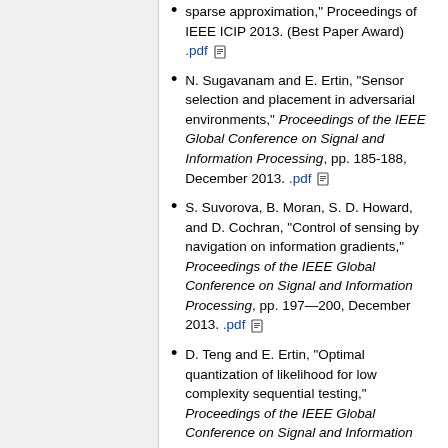sparse approximation," Proceedings of IEEE ICIP 2013. (Best Paper Award) .pdf
N. Sugavanam and E. Ertin, "Sensor selection and placement in adversarial environments," Proceedings of the IEEE Global Conference on Signal and Information Processing, pp. 185-188, December 2013. .pdf
S. Suvorova, B. Moran, S. D. Howard, and D. Cochran, "Control of sensing by navigation on information gradients," Proceedings of the IEEE Global Conference on Signal and Information Processing, pp. 197—200, December 2013. .pdf
D. Teng and E. Ertin, "Optimal quantization of likelihood for low complexity sequential testing," Proceedings of the IEEE Global Conference on Signal and Information Processing, pp. 675-678, December 2013. .pdf